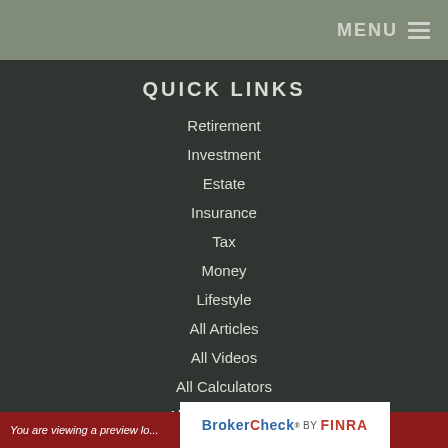MENU ☰
QUICK LINKS
Retirement
Investment
Estate
Insurance
Tax
Money
Lifestyle
All Articles
All Videos
All Calculators
All Presentations
You are viewing a preview lo...
[Figure (logo): BrokerCheck by FINRA logo]